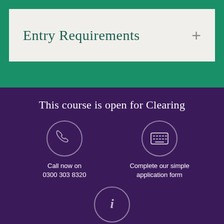Entry Requirements +
This course is open for Clearing
[Figure (infographic): Three circular icons on purple background: phone icon with 'Call now on 0300 303 8320', keyboard/form icon with 'Complete our simple application form', and info icon with 'Find out more']